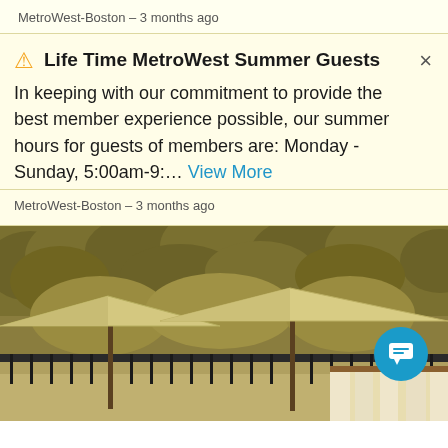MetroWest-Boston – 3 months ago
Life Time MetroWest Summer Guests
In keeping with our commitment to provide the best member experience possible, our summer hours for guests of members are: Monday - Sunday, 5:00am-9:… View More
MetroWest-Boston – 3 months ago
[Figure (photo): Outdoor pool area with large beige cantilever umbrellas and a cabana with curtains, set against a hillside covered with dense green-brown vegetation. A teal chat button icon is visible in the lower right.]